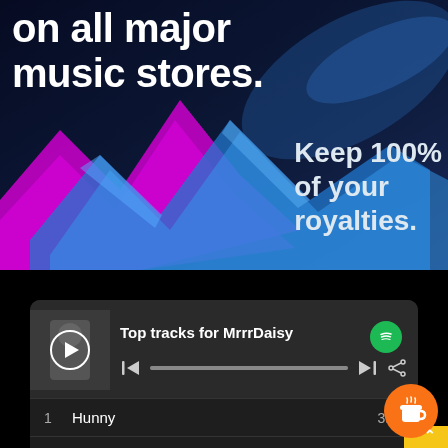[Figure (illustration): Dark blue/black background with magenta and cyan zigzag/lightning bolt graphic shapes, advertising music distribution service]
on all major music stores.
Keep 100% of your royalties.
[Figure (screenshot): Spotify player card showing 'Top tracks for MrrrDaisy' with album art, play button, progress bar, and track list: 1. Hunny 3:1x, 2. The One 3:3x]
[Figure (illustration): Buy Me a Coffee orange circular button and yellow chevron tag in bottom right corner]